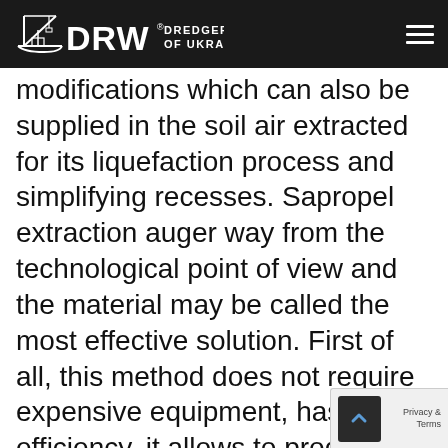DRW DREDGERS OF UKRAINE
modifications which can also be supplied in the soil air extracted for its liquefaction process and simplifying recesses. Sapropel extraction auger way from the technological point of view and the material may be called the most effective solution. First of all, this method does not require expensive equipment, has a efficiency, it allows to produce sapro...